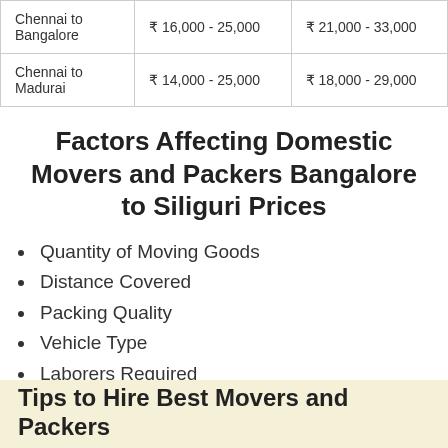| Route | Economy | Standard |
| --- | --- | --- |
| Chennai to Bangalore | ₹ 16,000 - 25,000 | ₹ 21,000 - 33,000 |
| Chennai to Madurai | ₹ 14,000 - 25,000 | ₹ 18,000 - 29,000 |
Factors Affecting Domestic Movers and Packers Bangalore to Siliguri Prices
Quantity of Moving Goods
Distance Covered
Packing Quality
Vehicle Type
Laborers Required
Physical Effort
Additional Services
Insurance
Tips to Hire Best Movers and Packers